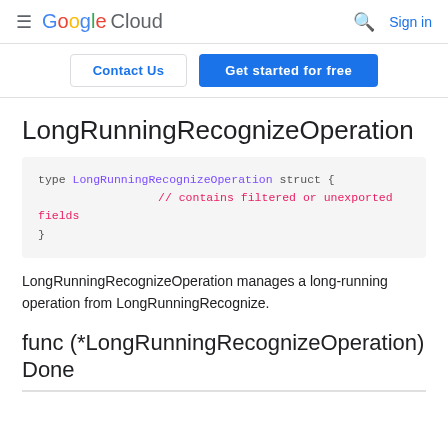≡ Google Cloud | 🔍 Sign in
Contact Us | Get started for free
LongRunningRecognizeOperation
[Figure (screenshot): Code block showing: type LongRunningRecognizeOperation struct { // contains filtered or unexported fields }]
LongRunningRecognizeOperation manages a long-running operation from LongRunningRecognize.
func (*LongRunningRecognizeOperation) Done